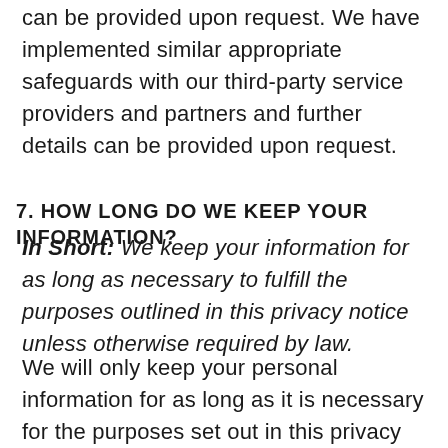can be provided upon request. We have implemented similar appropriate safeguards with our third-party service providers and partners and further details can be provided upon request.
7. HOW LONG DO WE KEEP YOUR INFORMATION?
In Short:  We keep your information for as long as necessary to fulfill the purposes outlined in this privacy notice unless otherwise required by law.
We will only keep your personal information for as long as it is necessary for the purposes set out in this privacy notice, unless a longer retention period